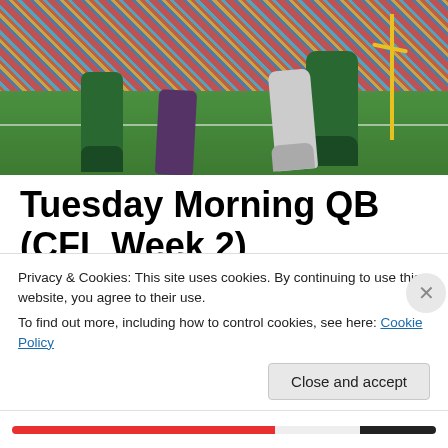[Figure (photo): Football game action photo showing players in green uniforms (Saskatchewan Roughriders style) on a football field with a large crowd in the background and a yellow goalpost visible on the right side.]
Tuesday Morning QB (CFL Week 2)
[Figure (screenshot): Embedded video player with dark background showing a partial football field view with goalposts and a football in the air.]
Privacy & Cookies: This site uses cookies. By continuing to use this website, you agree to their use.
To find out more, including how to control cookies, see here: Cookie Policy
Close and accept